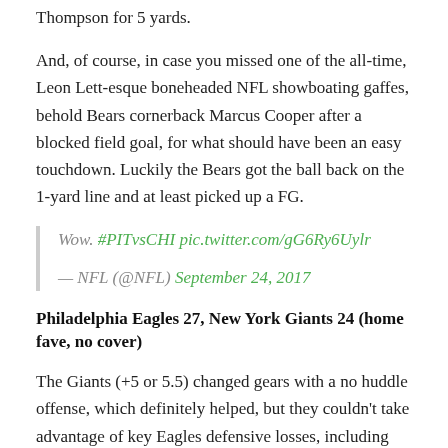Thompson for 5 yards.
And, of course, in case you missed one of the all-time, Leon Lett-esque boneheaded NFL showboating gaffes, behold Bears cornerback Marcus Cooper after a blocked field goal, for what should have been an easy touchdown. Luckily the Bears got the ball back on the 1-yard line and at least picked up a FG.
Wow. #PITvsCHI pic.twitter.com/gG6Ry6Uylr
— NFL (@NFL) September 24, 2017
Philadelphia Eagles 27, New York Giants 24 (home fave, no cover)
The Giants (+5 or 5.5) changed gears with a no huddle offense, which definitely helped, but they couldn't take advantage of key Eagles defensive losses, including DT Fletcher Cox and LB Jordan Hicks who both went down